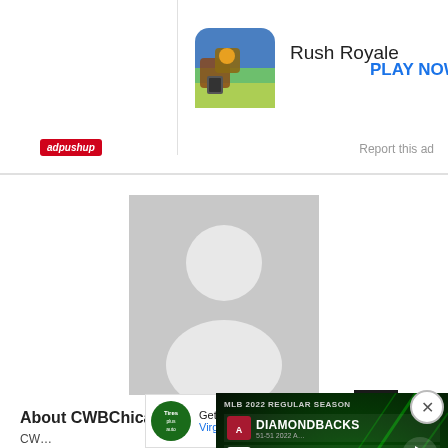[Figure (screenshot): Advertisement banner for Rush Royale game with app icon, title, and PLAY NOW button, with adpushup branding and Report this ad link]
[Figure (photo): Gray placeholder profile picture with silhouette of a person]
About CWBChicag…
CW… Wrigle… ina… Comn…
[Figure (screenshot): Small advertisement for Virginia Tire & Auto offering Get Up To $100 Off with logo]
[Figure (screenshot): MLB 2022 Regular Season scoreboard overlay showing Diamondbacks vs White Sox at Guaranteed Rate Field on August 27, 2022]
[Figure (screenshot): Dark scroll-to-top button with up arrow]
[Figure (screenshot): Close (X) button circle]